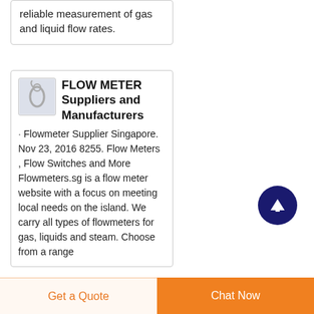reliable measurement of gas and liquid flow rates.
FLOW METER Suppliers and Manufacturers
[Figure (photo): Small thumbnail image of a flow meter product]
· Flowmeter Supplier Singapore. Nov 23, 2016 8255. Flow Meters , Flow Switches and More Flowmeters.sg is a flow meter website with a focus on meeting local needs on the island. We carry all types of flowmeters for gas, liquids and steam. Choose from a range
Get a Quote   Chat Now